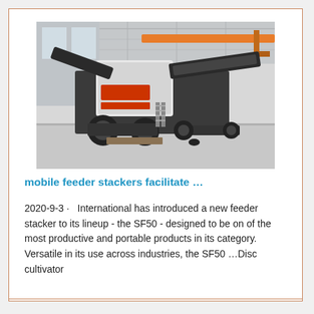[Figure (photo): A large mobile feeder stacker machine parked inside an industrial warehouse/facility with high ceilings and an orange overhead crane rail visible in the background.]
mobile feeder stackers facilitate …
2020-9-3 · International has introduced a new feeder stacker to its lineup - the SF50 - designed to be on of the most productive and portable products in its category. Versatile in its use across industries, the SF50 …Disc cultivator